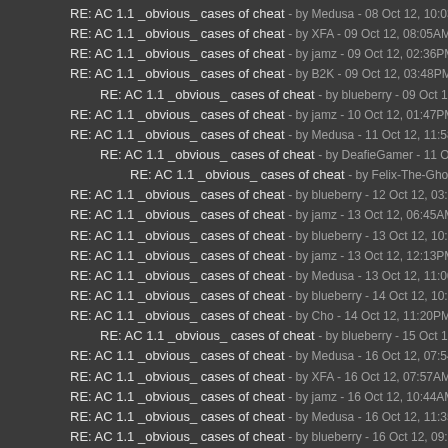RE: AC 1.1 _obvious_ cases of cheat - by Medusa - 08 Oct 12, 10:03PM
RE: AC 1.1 _obvious_ cases of cheat - by XFA - 09 Oct 12, 08:05AM
RE: AC 1.1 _obvious_ cases of cheat - by jamz - 09 Oct 12, 02:36PM
RE: AC 1.1 _obvious_ cases of cheat - by B2K - 09 Oct 12, 03:48PM
RE: AC 1.1 _obvious_ cases of cheat - by blueberry - 09 Oct 12, 10:07PM
RE: AC 1.1 _obvious_ cases of cheat - by jamz - 10 Oct 12, 01:47PM
RE: AC 1.1 _obvious_ cases of cheat - by Medusa - 11 Oct 12, 11:58AM
RE: AC 1.1 _obvious_ cases of cheat - by DeafieGamer - 11 Oct 12, 08:05P
RE: AC 1.1 _obvious_ cases of cheat - by Felix-The-Ghost - 12 Oct 12, 02:
RE: AC 1.1 _obvious_ cases of cheat - by blueberry - 12 Oct 12, 03:38AM
RE: AC 1.1 _obvious_ cases of cheat - by jamz - 13 Oct 12, 06:45AM
RE: AC 1.1 _obvious_ cases of cheat - by blueberry - 13 Oct 12, 10:47AM
RE: AC 1.1 _obvious_ cases of cheat - by jamz - 13 Oct 12, 12:13PM
RE: AC 1.1 _obvious_ cases of cheat - by Medusa - 13 Oct 12, 11:00PM
RE: AC 1.1 _obvious_ cases of cheat - by blueberry - 14 Oct 12, 10:21PM
RE: AC 1.1 _obvious_ cases of cheat - by Cho - 14 Oct 12, 11:20PM
RE: AC 1.1 _obvious_ cases of cheat - by blueberry - 15 Oct 12, 01:10AM
RE: AC 1.1 _obvious_ cases of cheat - by Medusa - 16 Oct 12, 07:54AM
RE: AC 1.1 _obvious_ cases of cheat - by XFA - 16 Oct 12, 07:57AM
RE: AC 1.1 _obvious_ cases of cheat - by jamz - 16 Oct 12, 10:44AM
RE: AC 1.1 _obvious_ cases of cheat - by Medusa - 16 Oct 12, 11:35AM
RE: AC 1.1 _obvious_ cases of cheat - by blueberry - 16 Oct 12, 09:42PM
RE: AC 1.1 _obvious_ cases of cheat - by Z3R0 - 17 Oct 12, 09:32PM
RE: AC 1.1 _obvious_ cases of cheat - by blueberry - 17 Oct 12, 10:23PM
RE: AC 1.1 _obvious_ cases of cheat - by YesWeCamp - 17 Oct 12, 09:34PM